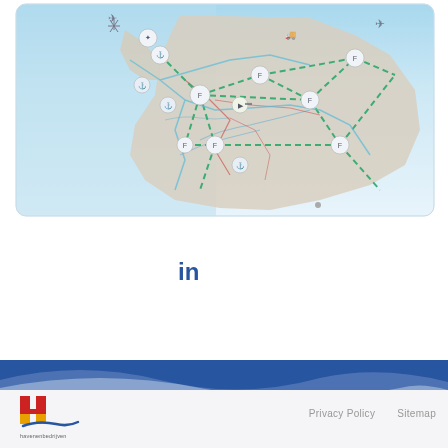[Figure (map): Infrastructure/transport network map showing Belgium with dashed green lines connecting various nodes (ports, airports, logistics hubs) and colored route lines across the country on a light blue background]
Also follow us on:
[Figure (logo): Twitter bird logo icon in white]
Twitter
[Figure (logo): LinkedIn 'in' logo icon in white]
LinkedIn
[Figure (logo): Havenbedrijf / port authority logo with red and yellow H and blue swoosh]
Privacy Policy    Sitemap